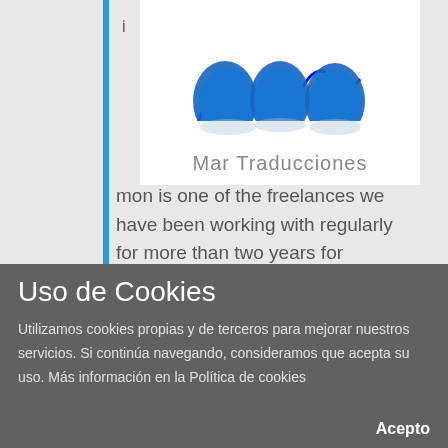[Figure (logo): Mar Traducciones logo with blue wave design on top and company name below in gray sans-serif text]
mon is one of the freelances we have been working with regularly for more than two years for translations and revisions in English. We’re delighted with his
Uso de Cookies
Utilizamos cookies propias y de terceros para mejorar nuestros servicios. Si continúa navegando, consideramos que acepta su uso. Más información en la Política de cookies
Acepto